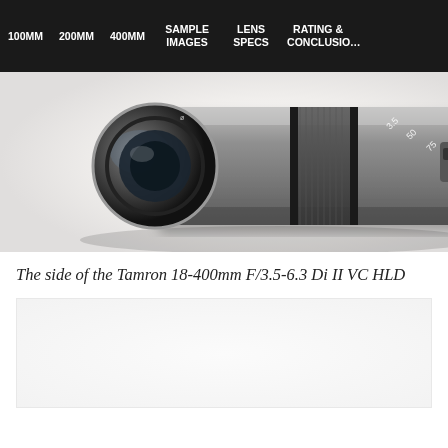100MM  200MM  400MM  SAMPLE IMAGES  LENS SPECS  RATING & CONCLUSION
[Figure (photo): Close-up side view of the Tamron 18-400mm F/3.5-6.3 Di II VC HLD lens, showing the barrel markings and textured grip ring against a white background]
The side of the Tamron 18-400mm F/3.5-6.3 Di II VC HLD
[Figure (photo): Second photo of the Tamron lens, partially visible at the bottom of the page]